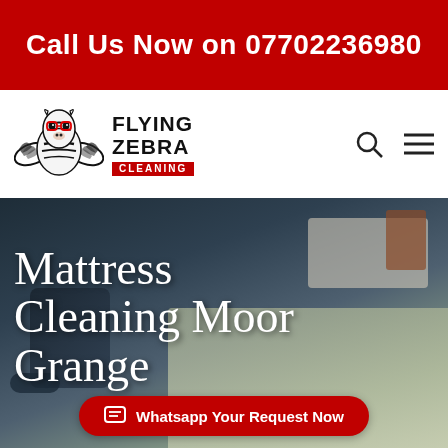Call Us Now on 07702236980
[Figure (logo): Flying Zebra Cleaning logo with winged zebra illustration and company name]
Mattress Cleaning Moor Grange
Whatsapp Your Request Now